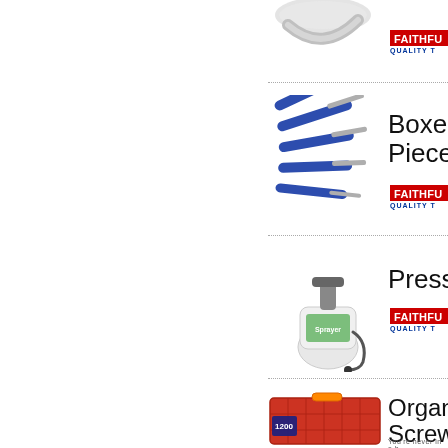[Figure (photo): Partially visible chrome/silver wrench or spanner tool at the top of the page]
[Figure (logo): Faithfull Quality Tools red logo badge, partially cropped]
[Figure (photo): Set of blue-handled screwdrivers fanned out]
Boxed Piece
[Figure (logo): Faithfull Quality Tools red logo badge]
[Figure (photo): Pressure sprayer with green pump and white tank labeled 'Sprayer']
Pressu
[Figure (logo): Faithfull Quality Tools red logo badge]
[Figure (photo): Organiser case for screws labeled 1200]
Organi Screw
[Figure (logo): Partially visible brand logo at bottom]